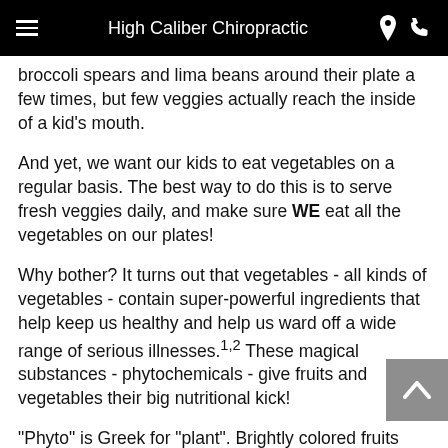High Caliber Chiropractic
broccoli spears and lima beans around their plate a few times, but few veggies actually reach the inside of a kid's mouth.
And yet, we want our kids to eat vegetables on a regular basis. The best way to do this is to serve fresh veggies daily, and make sure WE eat all the vegetables on our plates!
Why bother? It turns out that vegetables - all kinds of vegetables - contain super-powerful ingredients that help keep us healthy and help us ward off a wide range of serious illnesses.1,2 These magical substances - phytochemicals - give fruits and vegetables their big nutritional kick!
"Phyto" is Greek for "plant". Brightly colored fruits